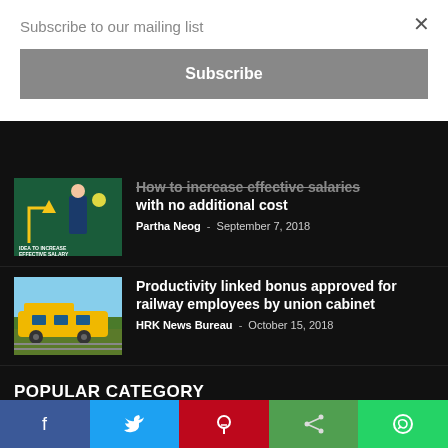Subscribe to our mailing list
Subscribe
[Figure (illustration): Thumbnail image with 'IDEA TO INCREASE EFFECTIVE SALARY' text, showing a businessman with arrows and lightbulb icons]
How to increase effective salaries with no additional cost
Partha Neog - September 7, 2018
[Figure (photo): Yellow railway locomotive train on tracks]
Productivity linked bonus approved for railway employees by union cabinet
HRK News Bureau - October 15, 2018
POPULAR CATEGORY
News